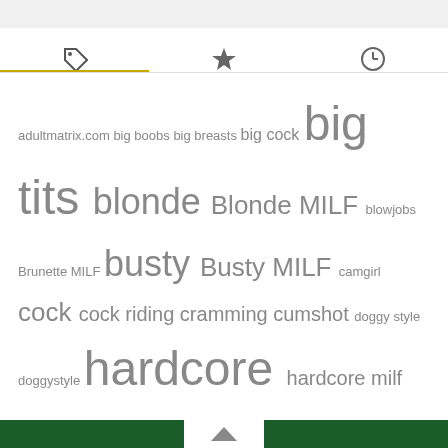[Figure (other): Tab navigation bar with three icons: tag icon (active, gold underline), star icon, and clock/history icon]
adultmatrix.com big boobs big breasts big cock big tits blonde Blonde MILF blowjobs Brunette MILF busty Busty MILF camgirl cock cock riding cramming cumshot doggy style doggystyle hardcore hardcore milf hot milf interracial interracial sex mature mature woman maturewomensexcams.com milf milf hunter MILF porn movie MILF porn update MILFs in Heat milfs wild holiday older woman oral phat ass pornstar pussy Reality Kings Milfs sexy milf small tits Soccer MILFs solo stockings undressing webcam